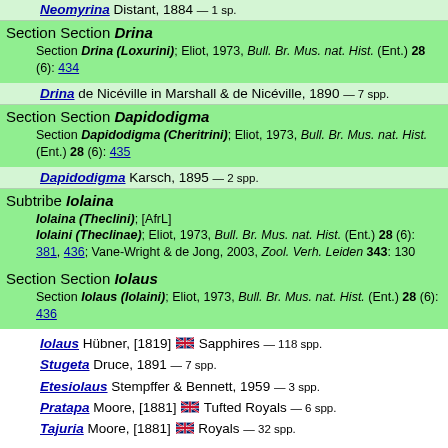Neomyrina Distant, 1884 — 1 sp.
Section Section Drina
Section Drina (Loxurini); Eliot, 1973, Bull. Br. Mus. nat. Hist. (Ent.) 28 (6): 434
Drina de Nicéville in Marshall & de Nicéville, 1890 — 7 spp.
Section Section Dapidodigma
Section Dapidodigma (Cheritrini); Eliot, 1973, Bull. Br. Mus. nat. Hist. (Ent.) 28 (6): 435
Dapidodigma Karsch, 1895 — 2 spp.
Subtribe Iolaina
Iolaina (Theclini); [AfrL]
Iolaini (Theclinae); Eliot, 1973, Bull. Br. Mus. nat. Hist. (Ent.) 28 (6): 381, 436; Vane-Wright & de Jong, 2003, Zool. Verh. Leiden 343: 130
Section Section Iolaus
Section Iolaus (Iolaini); Eliot, 1973, Bull. Br. Mus. nat. Hist. (Ent.) 28 (6): 436
Iolaus Hübner, [1819] Sapphires — 118 spp.
Stugeta Druce, 1891 — 7 spp.
Etesiolaus Stempffer & Bennett, 1959 — 3 spp.
Pratapa Moore, [1881] Tufted Royals — 6 spp.
Tajuria Moore, [1881] Royals — 32 spp.